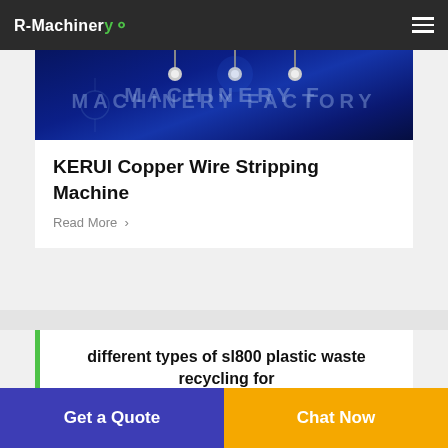R-Machinery
[Figure (photo): Dark blue machinery factory interior with overhead lights and text overlay reading MACHINERY FACTORY]
KERUI Copper Wire Stripping Machine
Read More >
different types of sl800 plastic waste recycling for
Get a Quote
Chat Now